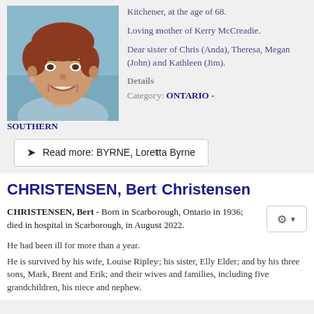[Figure (photo): Portrait photo of a woman smiling, with short reddish-brown hair, wearing earrings, against a light blue background.]
Kitchener, at the age of 68.
Loving mother of Kerry McCreadie.
Dear sister of Chris (Anda), Theresa, Megan (John) and Kathleen (Jim).
Details
Category: ONTARIO - SOUTHERN
Read more: BYRNE, Loretta Byrne
CHRISTENSEN, Bert Christensen
CHRISTENSEN, Bert  -  Born in Scarborough, Ontario in 1936; died in hospital in Scarborough, in August 2022.
He had been ill for more than a year.
He is survived by his wife, Louise Ripley; his sister, Elly Elder; and by his three sons, Mark, Brent and Erik; and their wives and families, including five grandchildren, his niece and nephew.